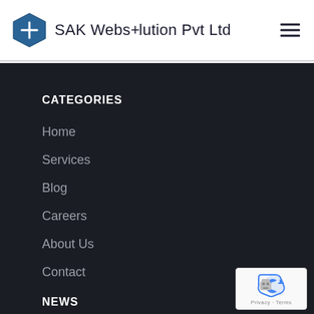SAK Websolution Pvt Ltd
CATEGORIES
Home
Services
Blog
Careers
About Us
Contact
NEWS
[Figure (logo): reCAPTCHA badge with robot icon and Privacy/Terms links]